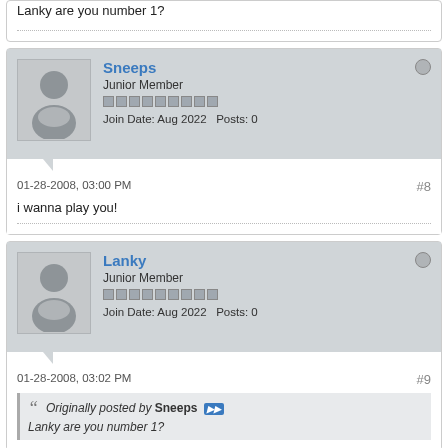Lanky are you number 1?
Sneeps
Junior Member
Join Date: Aug 2022  Posts: 0
01-28-2008, 03:00 PM  #8
i wanna play you!
Lanky
Junior Member
Join Date: Aug 2022  Posts: 0
01-28-2008, 03:02 PM  #9
Originally posted by Sneeps
Lanky are you number 1?